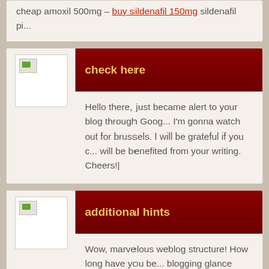cheap amoxil 500mg – buy sildenafil 150mg sildenafil pi...
check here
Hello there, just became alert to your blog through Google, I'm gonna watch out for brussels. I will be grateful if you continue this in future. Lots of people will be benefited from your writing. Cheers!
additional hints
Wow, marvelous weblog structure! How long have you been blogging glance easy. The total look of your web site is excellent, as well as the material!
Wncdaw